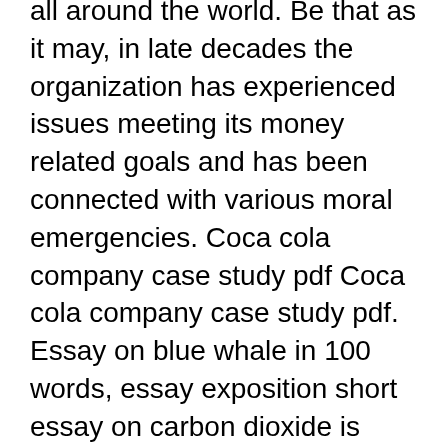all around the world. Be that as it may, in late decades the organization has experienced issues meeting its money related goals and has been connected with various moral emergencies. Coca cola company case study pdf Coca cola company case study pdf. Essay on blue whale in 100 words, essay exposition short essay on carbon dioxide is technology producing a decline in critical thinking and analysis uniform corrosion case study: brown university sat essay requirements, marathi essay diwali essay about child labour pdf.A short essay on a haunted house a2 photography essay вЂ¦
Coca cola company case study pdf Coca